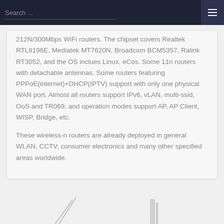Search ...
212N/300Mbps WiFi routers. The chipset covers Realtek RTL8196E, Mediatek MT7620N, Broadcom BCM5357, Ralink RT3052, and the OS inclues Linux, eCos. Some 11n routers with detachable antennas. Some routers featuring PPPoE(internet)+DHCP(IPTV) support with only one physical WAN port. Almost all routers support IPv6, vLAN, multi-ssid, OoS and TR069, and operation modes support AP, AP Client, WISP, Bridge, etc.
These wireless-n routers are already deployed in general WLAN, CCTV, consumer electronics and many other specified areas worldwide.
[Figure (photo): Partial view of two WiFi router devices at the bottom of the page]